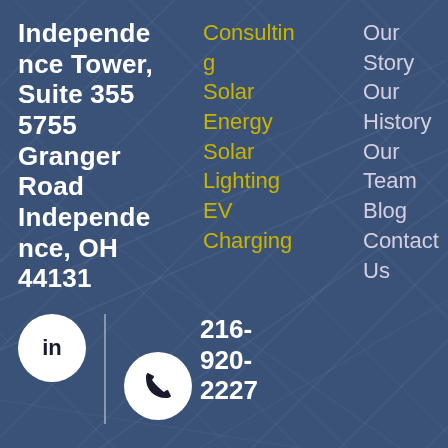Independence Tower, Suite 355 5755 Granger Road Independence, OH 44131
Consulting
Solar Energy
Solar Lighting
EV Charging
Our Story
Our History
Our Team
Blog
Contact Us
216-920-2227